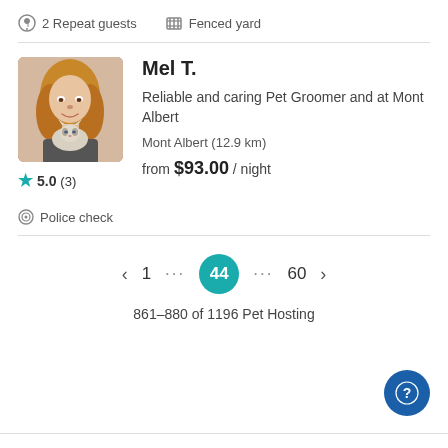2 Repeat guests   Fenced yard
Mel T.
Reliable and caring Pet Groomer and at Mont Albert
Mont Albert (12.9 km)
5.0 (3)
from $93.00 / night
Police check
< 1 … 44 … 60 >
861–880 of 1196 Pet Hosting